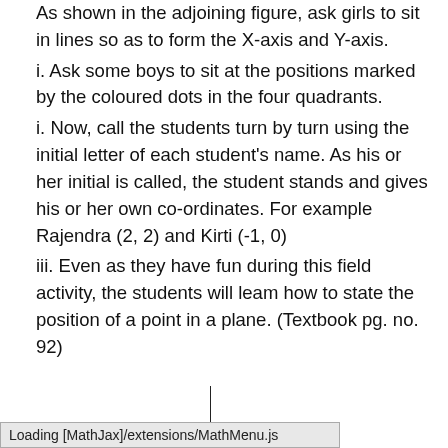As shown in the adjoining figure, ask girls to sit in lines so as to form the X-axis and Y-axis.
i. Ask some boys to sit at the positions marked by the coloured dots in the four quadrants.
i. Now, call the students turn by turn using the initial letter of each student's name. As his or her initial is called, the student stands and gives his or her own co-ordinates. For example Rajendra (2, 2) and Kirti (-1, 0)
iii. Even as they have fun during this field activity, the students will leam how to state the position of a point in a plane. (Textbook pg. no. 92)
Loading [MathJax]/extensions/MathMenu.js